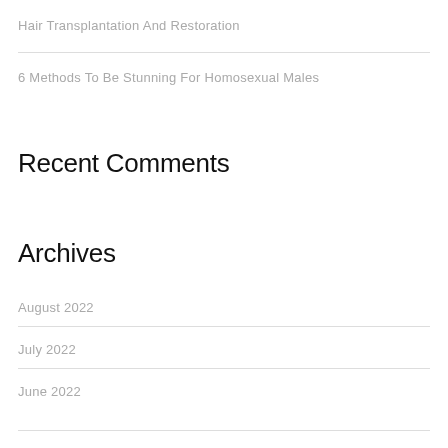Hair Transplantation And Restoration
6 Methods To Be Stunning For Homosexual Males
Recent Comments
Archives
August 2022
July 2022
June 2022